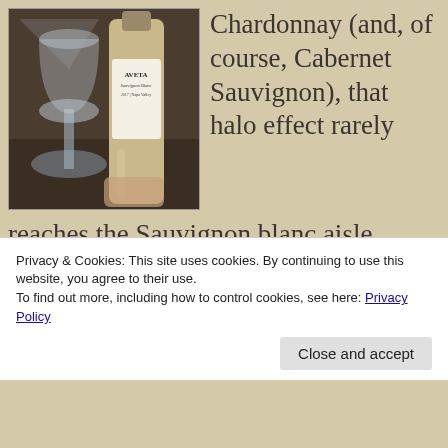[Figure (photo): Photo of a wine bottle labeled AVETA Sauvignon Blanc 2017 Napa Valley, held next to a martini glass]
Chardonnay (and, of course, Cabernet Sauvignon), that halo effect rarely reaches the Sauvignon blanc aisle.
Instead, customers who are interested in spending top dollar for Sauvignon blanc are
Privacy & Cookies: This site uses cookies. By continuing to use this website, you agree to their use.
To find out more, including how to control cookies, see here: Privacy Policy